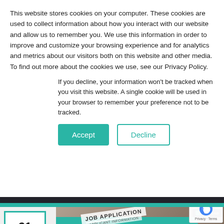This website stores cookies on your computer. These cookies are used to collect information about how you interact with our website and allow us to remember you. We use this information in order to improve and customize your browsing experience and for analytics and metrics about our visitors both on this website and other media. To find out more about the cookies we use, see our Privacy Policy.
If you decline, your information won't be tracked when you visit this website. A single cookie will be used in your browser to remember your preference not to be tracked.
Accept
Decline
21
Feb
[Figure (photo): Blog post image for 'The Career Road Less Travelled: Embracing The Unconventional Killian's Story' with a teal banner overlay, TalentHub badge, and a job application form visible in the background.]